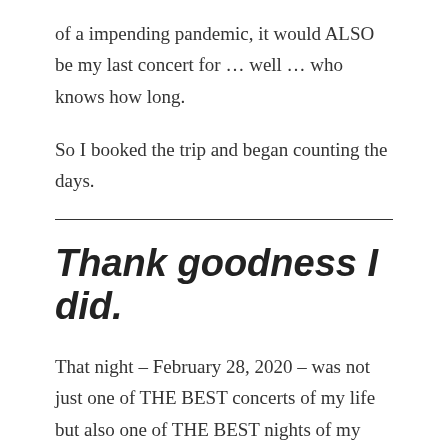of a impending pandemic, it would ALSO be my last concert for … well … who knows how long.
So I booked the trip and began counting the days.
Thank goodness I did.
That night – February 28, 2020 – was not just one of THE BEST concerts of my life but also one of THE BEST nights of my life. It was an emotional day – I'd gotten to spend a lot of quality time with my Grandma, and